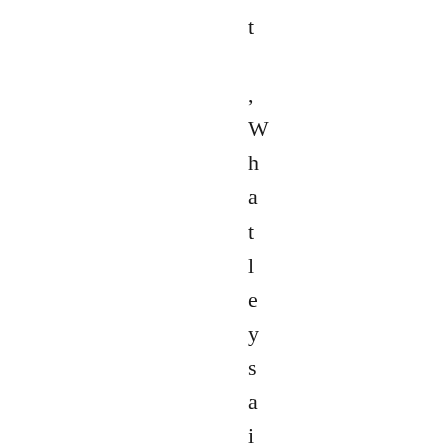t
,
W
h
a
t
l
e
y
s
a
i
d
.

D